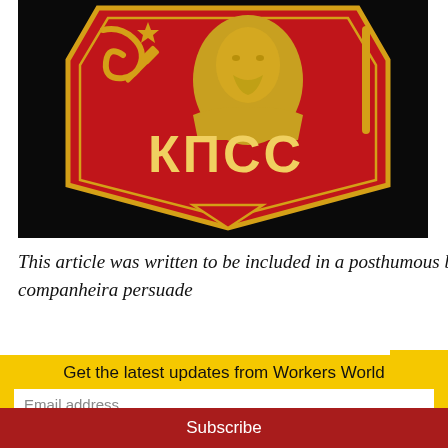[Figure (photo): Close-up photograph of a red Soviet КПСС (Communist Party of the Soviet Union) badge/pin with gold lettering, hammer and sickle symbol, a star, and a gold relief portrait of Lenin, set against a black background.]
This article was written to be included in a posthumous book I'm writing. I changed this decision because my companheira persuade
Get the latest updates from Workers World
Email address
Subscribe